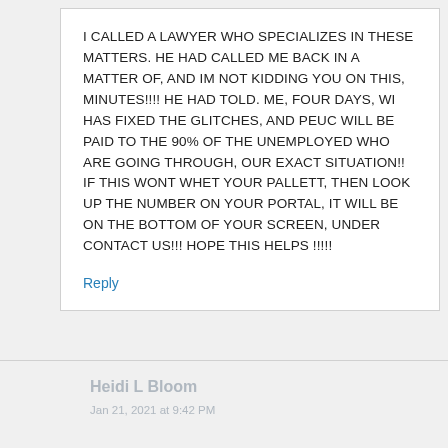I CALLED A LAWYER WHO SPECIALIZES IN THESE MATTERS. HE HAD CALLED ME BACK IN A MATTER OF, AND IM NOT KIDDING YOU ON THIS, MINUTES!!!! HE HAD TOLD. ME, FOUR DAYS, WI HAS FIXED THE GLITCHES, AND PEUC WILL BE PAID TO THE 90% OF THE UNEMPLOYED WHO ARE GOING THROUGH, OUR EXACT SITUATION!! IF THIS WONT WHET YOUR PALLETT, THEN LOOK UP THE NUMBER ON YOUR PORTAL, IT WILL BE ON THE BOTTOM OF YOUR SCREEN, UNDER CONTACT US!!! HOPE THIS HELPS !!!!!
Reply
Heidi L Bloom